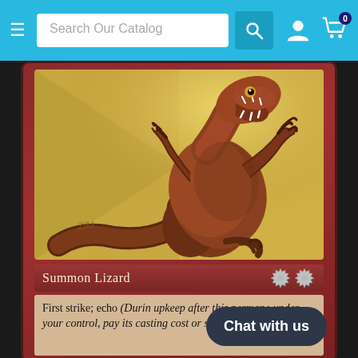Search Our Catalog
[Figure (illustration): Screenshot of an online trading card shop page showing a Magic: The Gathering card. The card features a raptor/lizard dinosaur illustration on a golden-yellow background, with red card border. Card type reads 'Summon Lizard' with gear icons. Card text reads: 'First strike; echo (During your upkeep after this permanent comes under your control, pay its casting cost or sacrifice it.)' A dark 'Chat with us' button overlays the bottom right of the card.]